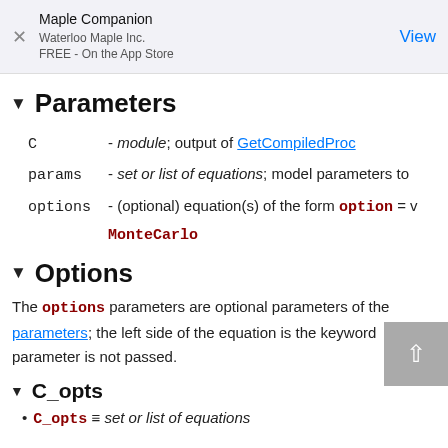Maple Companion
Waterloo Maple Inc.
FREE - On the App Store
View
▼ Parameters
C - module; output of GetCompiledProc
params - set or list of equations; model parameters to
options - (optional) equation(s) of the form option = v MonteCarlo
▼ Options
The options parameters are optional parameters of the parameters; the left side of the equation is the keyword parameter is not passed.
▼ C_opts
C_opts ≡ set or list of equations